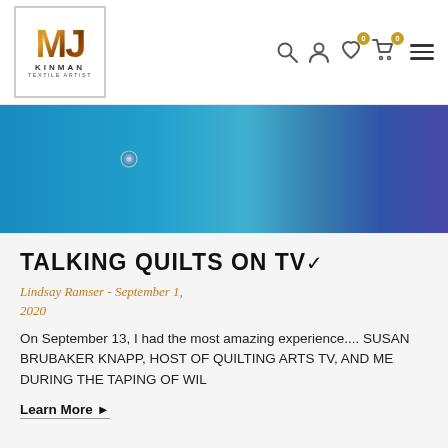[Figure (logo): MJ Kinman Textile Artist logo — stylized MJ letters with colorful pattern, inside a square border, with KINMAN and TEXTILE ARTIST text below]
[Figure (photo): Cropped photo of two people — one wearing a teal top with a pendant necklace, another wearing a colorful patterned vest over a pink top]
TALKING QUILTS ON TV
Lindsay Ramser - September 1, 2020
On September 13, I had the most amazing experience.... SUSAN BRUBAKER KNAPP, HOST OF QUILTING ARTS TV,  AND ME DURING THE TAPING OF WIL
Learn More ▶